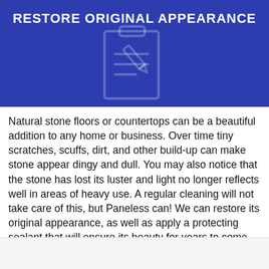RESTORE ORIGINAL APPEARANCE
Natural stone floors or countertops can be a beautiful addition to any home or business. Over time tiny scratches, scuffs, dirt, and other build-up can make stone appear dingy and dull. You may also notice that the stone has lost its luster and light no longer reflects well in areas of heavy use. A regular cleaning will not take care of this, but Paneless can! We can restore its original appearance, as well as apply a protecting sealant that will ensure its beauty for years to come.